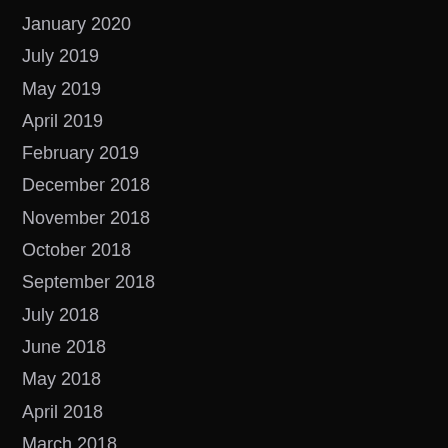January 2020
July 2019
May 2019
April 2019
February 2019
December 2018
November 2018
October 2018
September 2018
July 2018
June 2018
May 2018
April 2018
March 2018
February 2018
January 2018
December 2017
November 2017
October 2017